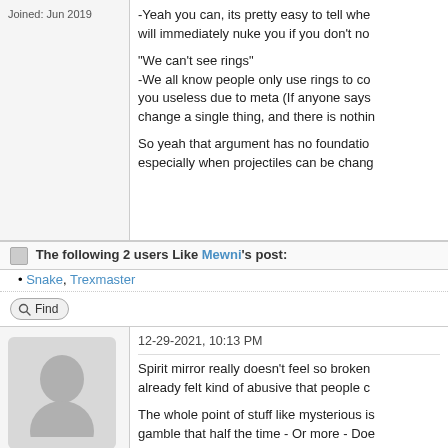Joined: Jun 2019
-Yeah you can, its pretty easy to tell whe... will immediately nuke you if you don't no...
"We can't see rings" -We all know people only use rings to co... you useless due to meta (If anyone says... change a single thing, and there is nothin...
So yeah that argument has no foundation... especially when projectiles can be chang...
The following 2 users Like Mewni's post:
Snake, Trexmaster
Find
12-29-2021, 10:13 PM
Spirit mirror really doesn't feel so broken... already felt kind of abusive that people c...
The whole point of stuff like mysterious is... gamble that half the time - Or more - Doe...